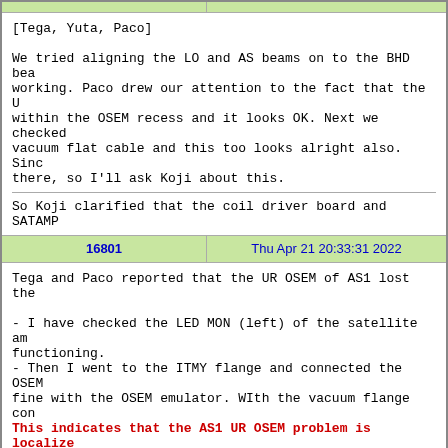| [Tega, Yuta, Paco]

We tried aligning the LO and AS beams on to the BHD bea working. Paco drew our attention to the fact that the U within the OSEM recess and it looks OK. Next we checked vacuum flat cable and this too looks alright also. Sinc there, so I'll ask Koji about this.

So Koji clarified that the coil driver board and SATAMP |
| 16801 | Thu Apr 21 20:33:31 2022 |
| Tega and Paco reported that the UR OSEM of AS1 lost the
- I have checked the LED MON (left) of the satellite am functioning.
- Then I went to the ITMY flange and connected the OSEM fine with the OSEM emulator. WIth the vacuum flange con
This indicates that the AS1 UR OSEM problem is localize |
| 16802 | Fri Apr 22 07:01:58 2022 |
| [Koji, JS] |